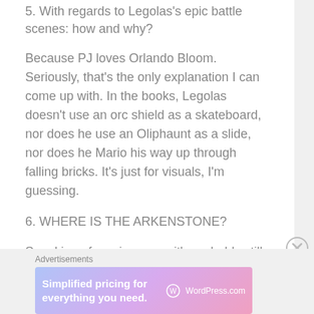5. With regards to Legolas's epic battle scenes: how and why?
Because PJ loves Orlando Bloom. Seriously, that's the only explanation I can come up with. In the books, Legolas doesn't use an orc shield as a skateboard, nor does he use an Oliphaunt as a slide, nor does he Mario his way up through falling bricks. It's just for visuals, I'm guessing.
6. WHERE IS THE ARKENSTONE?
Speaking of movie canon, it's probably still with Bard.
Advertisements  Simplified pricing for everything you need.  WordPress.com